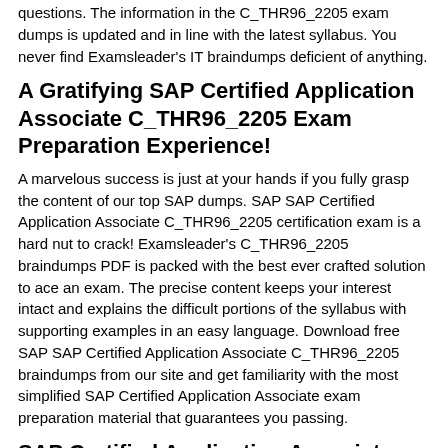questions. The information in the C_THR96_2205 exam dumps is updated and in line with the latest syllabus. You never find Examsleader's IT braindumps deficient of anything.
A Gratifying SAP Certified Application Associate C_THR96_2205 Exam Preparation Experience!
A marvelous success is just at your hands if you fully grasp the content of our top SAP dumps. SAP SAP Certified Application Associate C_THR96_2205 certification exam is a hard nut to crack! Examsleader's C_THR96_2205 braindumps PDF is packed with the best ever crafted solution to ace an exam. The precise content keeps your interest intact and explains the difficult portions of the syllabus with supporting examples in an easy language. Download free SAP SAP Certified Application Associate C_THR96_2205 braindumps from our site and get familiarity with the most simplified SAP Certified Application Associate exam preparation material that guarantees you passing.
SAP Certified Application Associate C_THR96_2205 Exam with Guaranteed Passing Success!